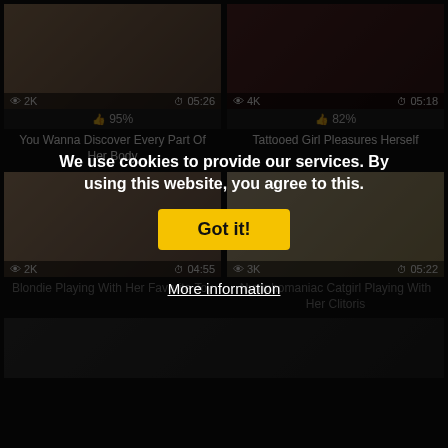[Figure (screenshot): Video thumbnail 1: person in black lingerie, views 2K, duration 05:26, rating 95%, title: You Wanna Discover Every Part Of Her Body]
[Figure (screenshot): Video thumbnail 2: tattooed girl, views 4K, duration 05:18, rating 82%, title: Tattooed Girl Pleasures Herself]
[Figure (screenshot): Video thumbnail 3: person in black latex, views 2K, duration 04:55, title: Blondie Playing With Her Favorite Toy]
[Figure (screenshot): Video thumbnail 4: person on white bed, views 3K, duration 05:22, title: Nymphomaniac Catgirl Playing With Her Clitoris]
We use cookies to provide our services. By using this website, you agree to this.
Got it!
More information